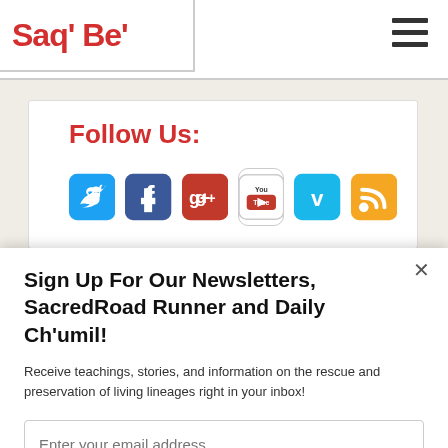Saq' Be'
Follow Us:
[Figure (other): Social media icons: Twitter (blue bird), Facebook (blue f), Google+ (red g+), YouTube (you tube logo), Vimeo (teal v), RSS (orange RSS feed)]
Sign Up For Our Newsletters, SacredRoad Runner and Daily Ch'umil!
Receive teachings, stories, and information on the rescue and preservation of living lineages right in your inbox!
Enter your email address
Subscribe Now